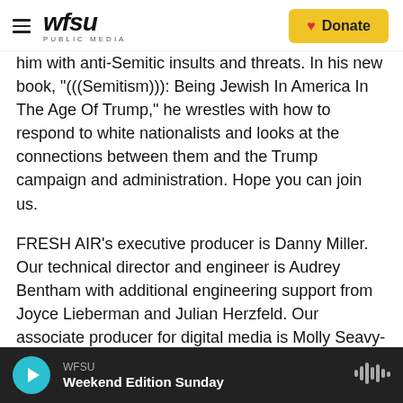[Figure (logo): WFSU Public Media logo with hamburger menu icon and yellow Donate button with heart]
him with anti-Semitic insults and threats. In his new book, "(((Semitism))): Being Jewish In America In The Age Of Trump," he wrestles with how to respond to white nationalists and looks at the connections between them and the Trump campaign and administration. Hope you can join us.
FRESH AIR's executive producer is Danny Miller. Our technical director and engineer is Audrey Bentham with additional engineering support from Joyce Lieberman and Julian Herzfeld. Our associate producer for digital media is Molly Seavy-
WFSU
Weekend Edition Sunday